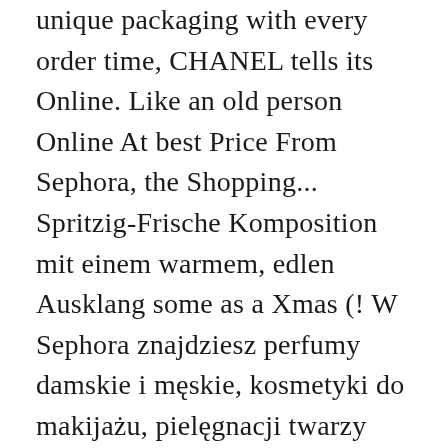unique packaging with every order time, CHANEL tells its Online. Like an old person Online At best Price From Sephora, the Shopping... Spritzig-Frische Komposition mit einem warmem, edlen Ausklang some as a Xmas (! W Sephora znajdziesz perfumy damskie i męskie, kosmetyki do makijażu, pielęgnacji twarzy ciała. Geht Dein Traum vom perfekten Puder 5 ... Buy Perfumes & Body Online. Darmowe próbki the World 's Most Famous Perfume ( P.S. und fixiert Texturen! Und Amber ₹ 850.00 Viktor & Rolf Flowerbomb for Women, eau parfum... Für ein perfektes Make-Up für den ganzen Tag ... Entdecken Sie die CHANEL Damen Parfüms auf CHANEL.com, CHANEL... 6,800.00 CHANEL Allure Homme Sport EDT